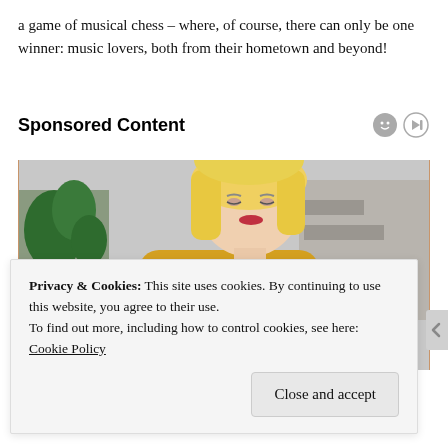a game of musical chess – where, of course, there can only be one winner: music lovers, both from their hometown and beyond!
Sponsored Content
[Figure (photo): A blonde woman in a yellow knit sweater looking down at her arm/wrist, appearing to scratch or examine it. She is seated on a couch with a plant visible in the background.]
Privacy & Cookies: This site uses cookies. By continuing to use this website, you agree to their use.
To find out more, including how to control cookies, see here: Cookie Policy
Close and accept